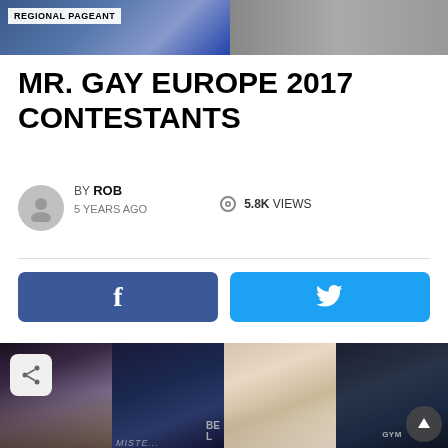REGIONAL PAGEANT
MR. GAY EUROPE 2017 CONTESTANTS
BY ROB
5 YEARS AGO
5.8K VIEWS
[Figure (screenshot): Facebook and Twitter share buttons]
[Figure (photo): Gallery of four male contestants from Mr. Gay Europe 2017 pageant]